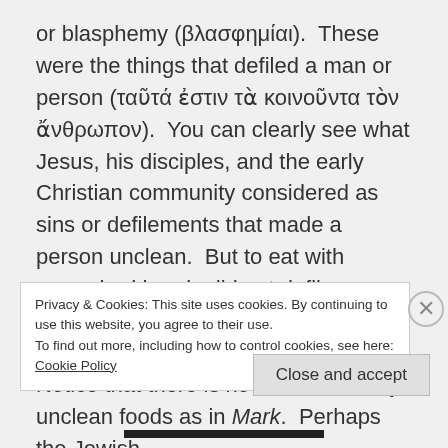or blasphemy (βλασφημίαι).  These were the things that defiled a man or person (ταῦτά ἐστιν τὰ κοινοῦντα τὸν ἄνθρωπον).  You can clearly see what Jesus, his disciples, and the early Christian community considered as sins or defilements that made a person unclean.  But to eat with unwashed hands did not defile a man (δὲ ἀνίπτοις χερσὶν φαγεῖν οὐ κοινοῖ τὸν ἄνθρωπον) or make him unclean.  Notice that there is no mention of any unclean foods as in Mark.  Perhaps the Jewish
Privacy & Cookies: This site uses cookies. By continuing to use this website, you agree to their use.
To find out more, including how to control cookies, see here: Cookie Policy